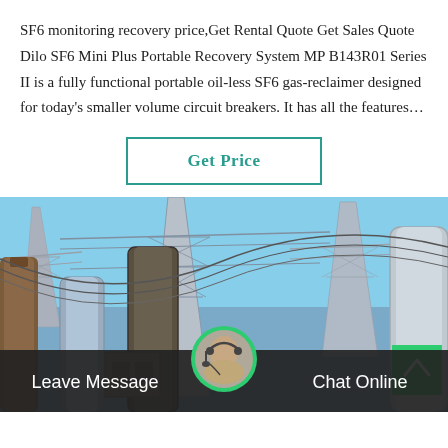SF6 monitoring recovery price,Get Rental Quote Get Sales Quote Dilo SF6 Mini Plus Portable Recovery System MP B143R01 Series II is a fully functional portable oil-less SF6 gas-reclaimer designed for today's smaller volume circuit breakers. It has all the features…
[Figure (other): Button labeled 'Get Price' with teal border]
[Figure (photo): Electrical substation with large transmission towers, high-voltage equipment, and circuit breakers under a blue sky. Bottom bar shows 'Leave Message' and 'Chat Online' with a customer service avatar.]